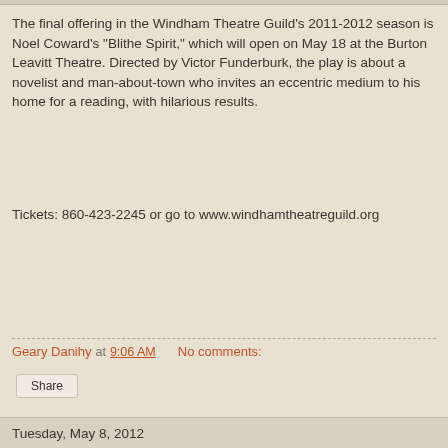The final offering in the Windham Theatre Guild's 2011-2012 season is Noel Coward's "Blithe Spirit," which will open on May 18 at the Burton Leavitt Theatre. Directed by Victor Funderburk, the play is about a novelist and man-about-town who invites an eccentric medium to his home for a reading, with hilarious results.
Tickets: 860-423-2245 or go to www.windhamtheatreguild.org
Geary Danihy at 9:06 AM   No comments:
Share
Tuesday, May 8, 2012